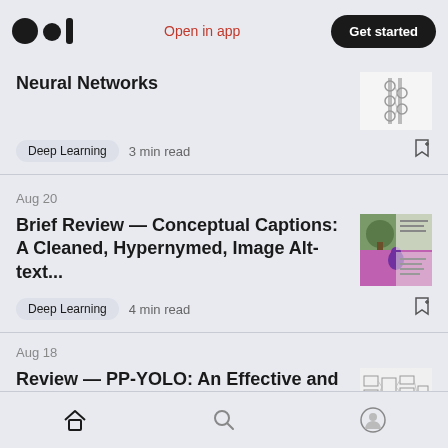Medium logo | Open in app | Get started
Neural Networks
Deep Learning  3 min read
Aug 20
Brief Review — Conceptual Captions: A Cleaned, Hypernymed, Image Alt-text...
Deep Learning  4 min read
Aug 18
Review — PP-YOLO: An Effective and Efficient Implementation of Object Detector
Home | Search | Profile